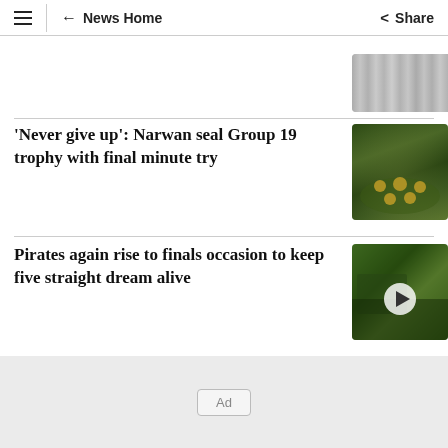≡ ← News Home  Share
[Figure (photo): Partial image visible at top right, appears to be a metallic or food item, partially cropped]
'Never give up': Narwan seal Group 19 trophy with final minute try
[Figure (photo): Rugby league team photo with players in blue and gold jerseys posing together on a field]
Pirates again rise to finals occasion to keep five straight dream alive
[Figure (photo): Rugby league action shot with players in green and gold jerseys, video play button overlay]
Ad